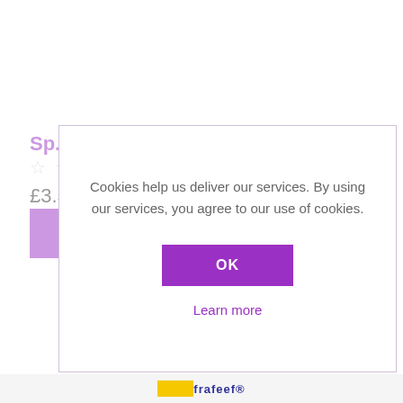Sp.
☆ ☆
£3.5
Cookies help us deliver our services. By using our services, you agree to our use of cookies.
OK
Learn more